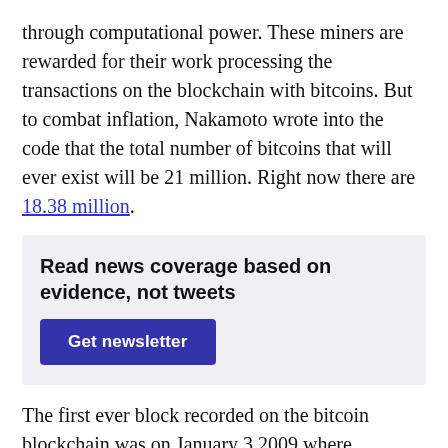through computational power. These miners are rewarded for their work processing the transactions on the blockchain with bitcoins. But to combat inflation, Nakamoto wrote into the code that the total number of bitcoins that will ever exist will be 21 million. Right now there are 18.38 million.
Read news coverage based on evidence, not tweets
Get newsletter
The first ever block recorded on the bitcoin blockchain was on January 3 2009 where Nakamoto received 50 bitcoins. In the white paper, Nakamoto specified that after every 210,000 blocks the reward for miners will half. So the first halving took place